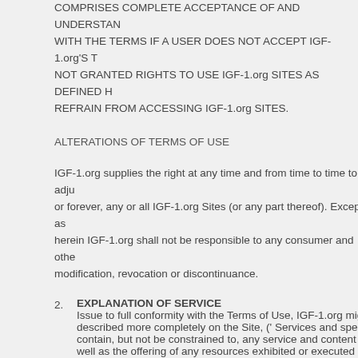COMPRISES COMPLETE ACCEPTANCE OF AND UNDERSTANDING WITH THE TERMS IF A USER DOES NOT ACCEPT IGF-1.org'S T NOT GRANTED RIGHTS TO USE IGF-1.org SITES AS DEFINED H REFRAIN FROM ACCESSING IGF-1.org SITES.
ALTERATIONS OF TERMS OF USE
IGF-1.org supplies the right at any time and from time to time to adj or forever, any or all IGF-1.org Sites (or any part thereof). Except as herein IGF-1.org shall not be responsible to any consumer and othe modification, revocation or discontinuance.
2. EXPLANATION OF SERVICE Issue to full conformity with the Terms of Use, IGF-1.org might prese described more completely on the Site, (' Services and specific serv contain, but not be constrained to, any service and content IGF-1.or well as the offering of any resources exhibited or executed on the S restricted to text, individual comments, information, photographs, so tutorials, also regarded as the 'Content ') on the Site. IGF-1.org sup postpone, or eliminate the Services including any Content for any pu including the access of any characteristic or content. IGF-1.org may any services and features or limit any user's entry to areas or all of t